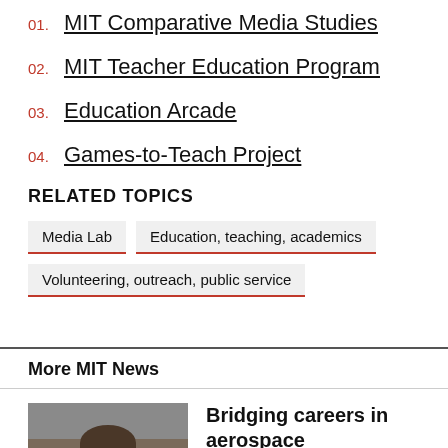01. MIT Comparative Media Studies
02. MIT Teacher Education Program
03. Education Arcade
04. Games-to-Teach Project
RELATED TOPICS
Media Lab
Education, teaching, academics
Volunteering, outreach, public service
More MIT News
[Figure (photo): Headshot photo of a person smiling, wearing a dark suit]
Bridging careers in aerospace manufacturing and fusion energy, with a focus on